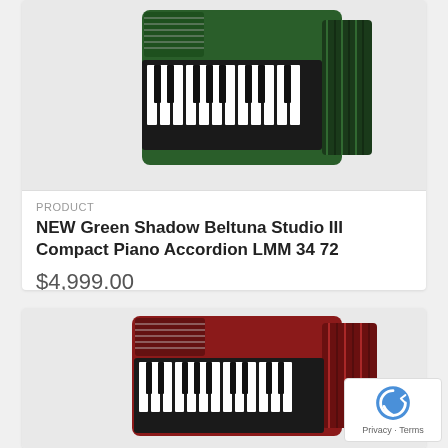[Figure (photo): Green accordion (Beltuna Studio III Compact Piano Accordion) photographed against white background, showing keyboard and bellows from an angle]
PRODUCT
NEW Green Shadow Beltuna Studio III Compact Piano Accordion LMM 34 72
$4,999.00
[Figure (photo): Red and black accordion photographed against white background, showing keyboard and red bellows from an angle]
[Figure (other): reCAPTCHA badge with Privacy and Terms links]